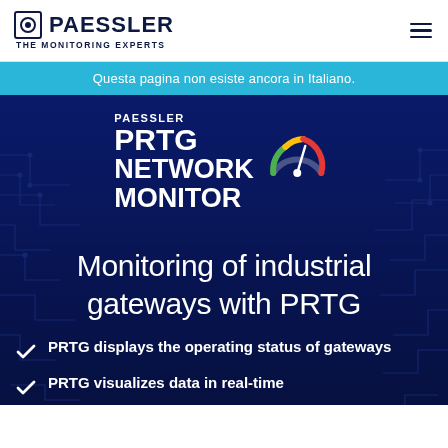PAESSLER THE MONITORING EXPERTS
Questa pagina non esiste ancora in Italiano.
[Figure (logo): PAESSLER PRTG Network Monitor logo with gauge icon showing red and yellow arc on dark blue background]
Monitoring of industrial gateways with PRTG
PRTG displays the operating status of gateways
PRTG visualizes data in real-time